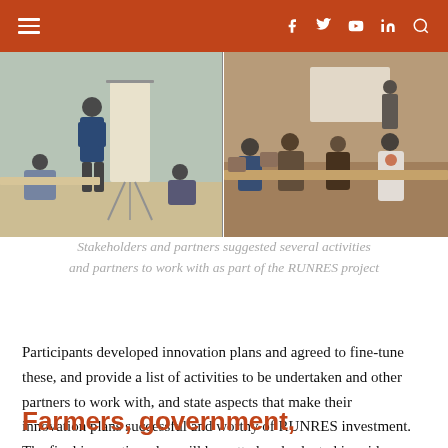≡  f  🐦  ▶  in  🔍
[Figure (photo): Two side-by-side photos of workshop participants. Left: a man standing next to a flip chart presenting to seated participants. Right: participants seated at tables in a meeting room, one wearing a white shirt with a logo.]
Stakeholders and partners suggested several activities and partners to work with as part of the RUNRES project
Participants developed innovation plans and agreed to fine-tune these, and provide a list of activities to be undertaken and other partners to work with, and state aspects that make their innovation plans successful and worthy of RUNRES investment. The final innovation plan will be vetted and selected in mid-2020.
Farmers, government, and private sector